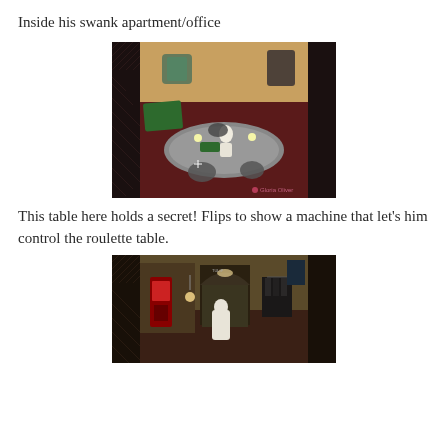Inside his swank apartment/office
[Figure (screenshot): Top-down view of a stylish apartment/office interior in a video game, showing a curved desk with a figure standing behind it, green felt surfaces, chairs, and decorative wallpaper. Watermark 'Gloria Oliver' visible in the bottom right.]
This table here holds a secret! Flips to show a machine that let's him control the roulette table.
[Figure (screenshot): Interior hallway/room scene from a video game, showing a corridor with arched doorways, a vending machine or red cabinet on the left, a white figure/character in the center, and dark clothing hanging in the background.]